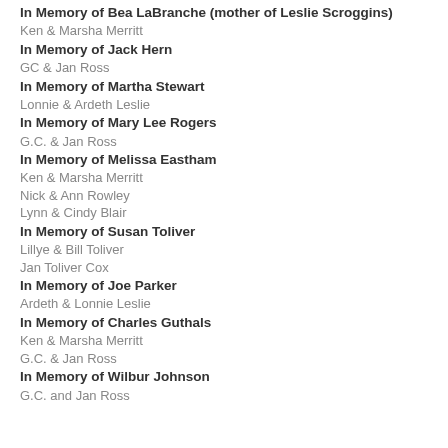In Memory of Bea LaBranche (mother of Leslie Scroggins)
Ken & Marsha Merritt
In Memory of Jack Hern
GC & Jan Ross
In Memory of Martha Stewart
Lonnie & Ardeth Leslie
In Memory of Mary Lee Rogers
G.C. & Jan Ross
In Memory of Melissa Eastham
Ken & Marsha Merritt
Nick & Ann Rowley
Lynn & Cindy Blair
In Memory of Susan Toliver
Lillye & Bill Toliver
Jan Toliver Cox
In Memory of Joe Parker
Ardeth & Lonnie Leslie
In Memory of Charles Guthals
Ken & Marsha Merritt
G.C. & Jan Ross
In Memory of Wilbur Johnson
G.C. and Jan Ross